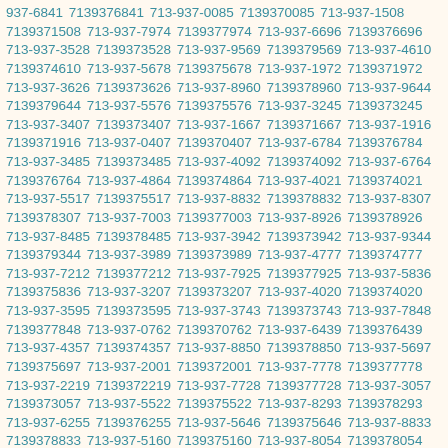937-6841 7139376841 713-937-0085 7139370085 713-937-1508 7139371508 713-937-7974 7139377974 713-937-6696 7139376696 713-937-3528 7139373528 713-937-9569 7139379569 713-937-4610 7139374610 713-937-5678 7139375678 713-937-1972 7139371972 713-937-3626 7139373626 713-937-8960 7139378960 713-937-9644 7139379644 713-937-5576 7139375576 713-937-3245 7139373245 713-937-3407 7139373407 713-937-1667 7139371667 713-937-1916 7139371916 713-937-0407 7139370407 713-937-6784 7139376784 713-937-3485 7139373485 713-937-4092 7139374092 713-937-6764 7139376764 713-937-4864 7139374864 713-937-4021 7139374021 713-937-5517 7139375517 713-937-8832 7139378832 713-937-8307 7139378307 713-937-7003 7139377003 713-937-8926 7139378926 713-937-8485 7139378485 713-937-3942 7139373942 713-937-9344 7139379344 713-937-3989 7139373989 713-937-4777 7139374777 713-937-7212 7139377212 713-937-7925 7139377925 713-937-5836 7139375836 713-937-3207 7139373207 713-937-4020 7139374020 713-937-3595 7139373595 713-937-3743 7139373743 713-937-7848 7139377848 713-937-0762 7139370762 713-937-6439 7139376439 713-937-4357 7139374357 713-937-8850 7139378850 713-937-5697 7139375697 713-937-2001 7139372001 713-937-7778 7139377778 713-937-2219 7139372219 713-937-7728 7139377728 713-937-3057 7139373057 713-937-5522 7139375522 713-937-8293 7139378293 713-937-6255 7139376255 713-937-5646 7139375646 713-937-8833 7139378833 713-937-5160 7139375160 713-937-8054 7139378054 713-937-1645 7139371645 713-937-5692 7139375692 713-937-9373 7139379373 713-937-4695 7139374695 713-937-7364 7139377364 713-937-5858 7139375858 713-937-3484 7139373484 713-937-3374